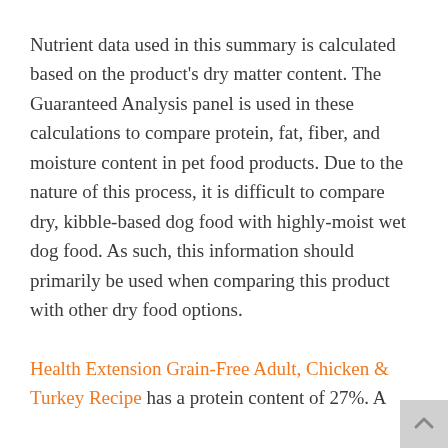Nutrient data used in this summary is calculated based on the product's dry matter content. The Guaranteed Analysis panel is used in these calculations to compare protein, fat, fiber, and moisture content in pet food products. Due to the nature of this process, it is difficult to compare dry, kibble-based dog food with highly-moist wet dog food. As such, this information should primarily be used when comparing this product with other dry food options.
Health Extension Grain-Free Adult, Chicken & Turkey Recipe has a protein content of 27%. A